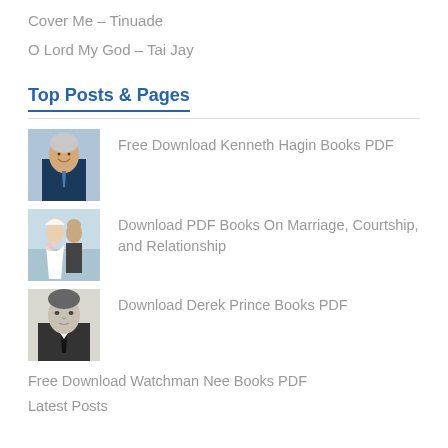Cover Me – Tinuade
O Lord My God – Tai Jay
Top Posts & Pages
Free Download Kenneth Hagin Books PDF
Download PDF Books On Marriage, Courtship, and Relationship
Download Derek Prince Books PDF
Free Download Watchman Nee Books PDF
Latest Posts